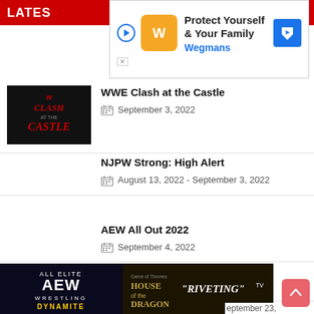LATES
[Figure (infographic): Advertisement banner: Protect Yourself & Your Family - Wegmans]
WWE Clash at the Castle
September 3, 2022
NJPW Strong: High Alert
August 13, 2022 - September 3, 2022
AEW All Out 2022
September 4, 2022
NXT Worlds Collide 2022
September 4, 2022
[Figure (infographic): Bottom ad banner: AEW All Elite Wrestling Dynamite / House of the Dragon - RIVETING TV]
eptember 23,